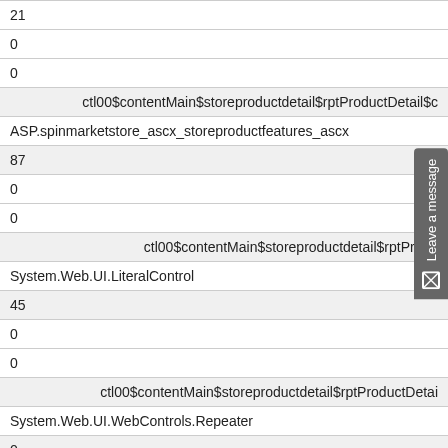| 21 |
| 0 |
| 0 |
| ctl00$contentMain$storeproductdetail$rptProductDetail$c |
| ASP.spinmarketstore_ascx_storeproductfeatures_ascx |
| 87 |
| 0 |
| 0 |
| ctl00$contentMain$storeproductdetail$rptProdu |
| System.Web.UI.LiteralControl |
| 45 |
| 0 |
| 0 |
| ctl00$contentMain$storeproductdetail$rptProductDetai |
| System.Web.UI.WebControls.Repeater |
| 0 |